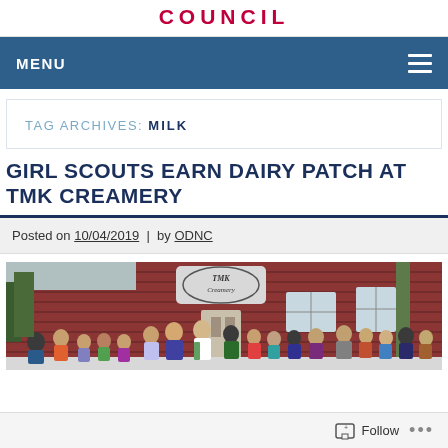COUNCIL
MENU
TAG ARCHIVES: MILK
GIRL SCOUTS EARN DAIRY PATCH AT TMK CREAMERY
Posted on 10/04/2019 | by ODNC
[Figure (photo): Group photo of Girl Scouts and adults standing in front of the TMK Creamery, a red barn-style building with the TMK Creamery sign above the entrance.]
Follow ...